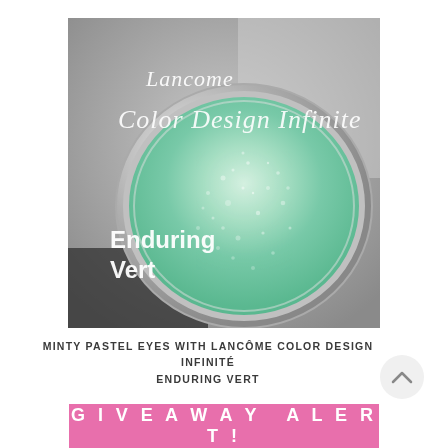[Figure (photo): Product photo of Lancome Color Design Infinite eye shadow in Enduring Vert shade. A round open jar with a metallic rim shows shimmery mint/green cream eye shadow inside. White script text on the image reads 'Lancome Color Design Infinite' at the top and 'Enduring Vert' on the lower left. Background is grey/silver tones.]
MINTY PASTEL EYES WITH LANCÔME COLOR DESIGN INFINITÉ ENDURING VERT
GIVEAWAY ALERT!